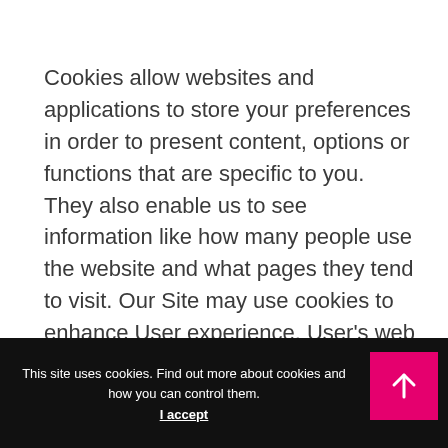Cookies allow websites and applications to store your preferences in order to present content, options or functions that are specific to you. They also enable us to see information like how many people use the website and what pages they tend to visit. Our Site may use cookies to enhance User experience. User's web browser places cookies on their hard drive for record-keeping purposes and sometimes to track information about them. User may choose to set their web browser to refuse cookies, or to alert you when cookies are being sent. If they do so, note that some parts of the Site
This site uses cookies. Find out more about cookies and how you can control them.
I accept